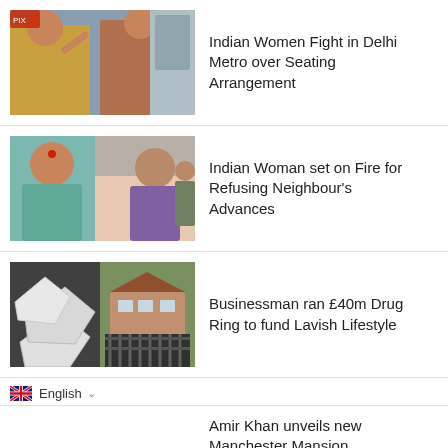[Figure (photo): Two women appear to be fighting in a Delhi Metro train]
Indian Women Fight in Delhi Metro over Seating Arrangement
[Figure (photo): Indian woman portrait with red bindi, and a man in purple t-shirt]
Indian Woman set on Fire for Refusing Neighbour's Advances
[Figure (photo): Bags of white powder drugs and a large house behind iron gates]
Businessman ran £40m Drug Ring to fund Lavish Lifestyle
English
Amir Khan unveils new Manchester Mansion